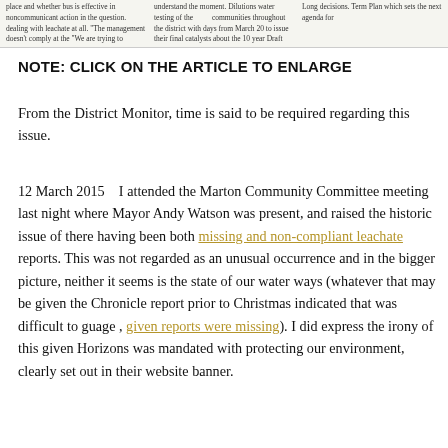[Figure (photo): Newspaper clipping at top of page with small columns of text about community meetings and water/leachate issues]
NOTE:  CLICK ON THE ARTICLE TO ENLARGE
From the District Monitor, time is said to be required regarding this issue.
12 March 2015    I attended the Marton Community Committee meeting last night where Mayor Andy Watson was present, and raised the historic issue of there having been both missing and non-compliant leachate reports. This was not regarded as an unusual occurrence and in the bigger picture, neither it seems is the state of our water ways (whatever that may be given the Chronicle report prior to Christmas indicated that was difficult to guage , given reports were missing). I did express the irony of this given Horizons was mandated with protecting our environment, clearly set out in their website banner.